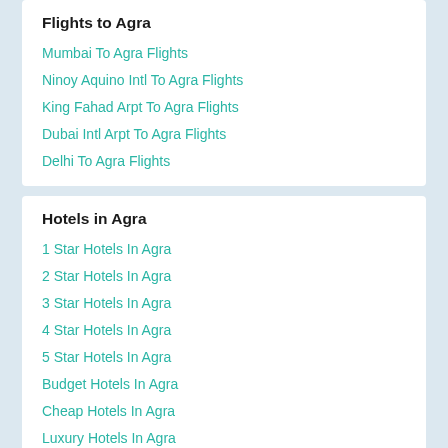Flights to Agra
Mumbai To Agra Flights
Ninoy Aquino Intl To Agra Flights
King Fahad Arpt To Agra Flights
Dubai Intl Arpt To Agra Flights
Delhi To Agra Flights
Hotels in Agra
1 Star Hotels In Agra
2 Star Hotels In Agra
3 Star Hotels In Agra
4 Star Hotels In Agra
5 Star Hotels In Agra
Budget Hotels In Agra
Cheap Hotels In Agra
Luxury Hotels In Agra
Top Routes from Allahabad